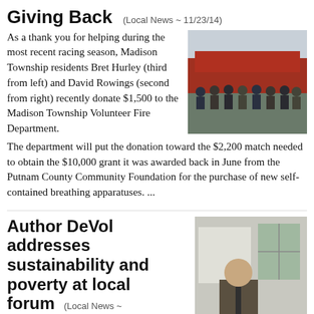Giving Back   (Local News ~ 11/23/14)
As a thank you for helping during the most recent racing season, Madison Township residents Bret Hurley (third from left) and David Rowings (second from right) recently donate $1,500 to the Madison Township Volunteer Fire Department. The department will put the donation toward the $2,200 match needed to obtain the $10,000 grant it was awarded back in June from the Putnam County Community Foundation for the purchase of new self-contained breathing apparatuses. ...
[Figure (photo): Group photo of firefighters and donors in front of a fire truck]
Author DeVol addresses sustainability and poverty at local forum   (Local News ~ 11/23/14)
Community sustainability expert and author Phil DeVol spoke to a workshop of local leaders on Oct. 29 at the Janet Prindle Institute for Ethics The event was sponsored by Transformers and was made possible thanks to an Impact Grant given to Transformers by the United Way of Putnam County...
[Figure (photo): Photo of author Phil DeVol standing at a podium in a suit]